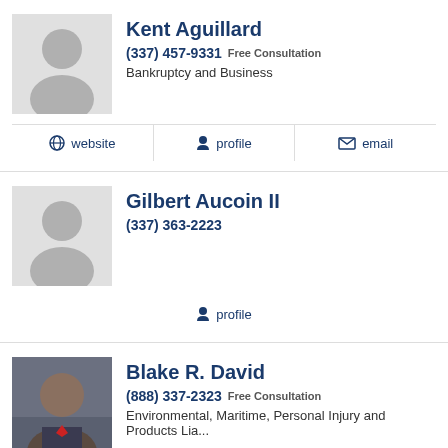Kent Aguillard
(337) 457-9331 Free Consultation
Bankruptcy and Business
website | profile | email
Gilbert Aucoin II
(337) 363-2223
profile
Blake R. David
(888) 337-2323 Free Consultation
Environmental, Maritime, Personal Injury and Products Lia...